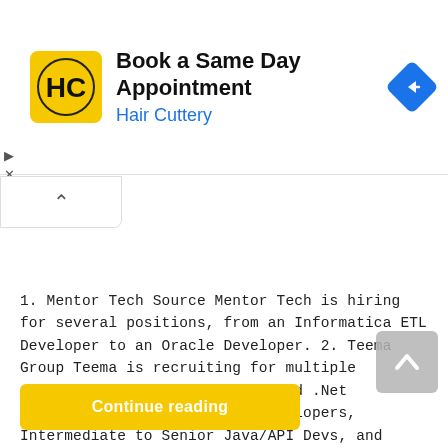[Figure (screenshot): Hair Cuttery advertisement banner with logo, text 'Book a Same Day Appointment', subtext 'Hair Cuttery' in blue, and a blue navigation arrow icon on the right.]
[Figure (other): Collapse/accordion chevron-up button in a white rounded box]
1. Mentor Tech Source Mentor Tech is hiring for several positions, from an Informatica ETL Developer to an Oracle Developer. 2. Teema Group Teema is recruiting for multiple positions like Intermediate/Lead .Net Developers. Senior Andriod Developers, Intermediate to Senior Java/API Devs, and Senior WordPress/Drupal Devs. 3. Loblaw Companies Limited Loblaw is looking for a Manager in Labour Relations. This position
[Figure (other): Yellow 'Continue reading' button at the bottom of the page]